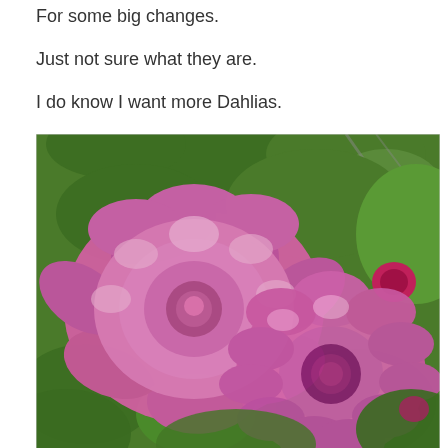For some big changes.
Just not sure what they are.
I do know I want more Dahlias.
[Figure (photo): Two large pink dahlia flowers in full bloom with green foliage and a garden structure in the background. The flowers have many layered petals in shades of pink and white.]